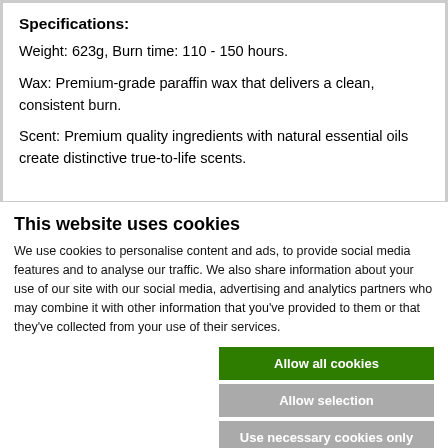Specifications:
Weight: 623g, Burn time: 110 - 150 hours.
Wax: Premium-grade paraffin wax that delivers a clean, consistent burn.
Scent: Premium quality ingredients with natural essential oils create distinctive true-to-life scents.
This website uses cookies
We use cookies to personalise content and ads, to provide social media features and to analyse our traffic. We also share information about your use of our site with our social media, advertising and analytics partners who may combine it with other information that you've provided to them or that they've collected from your use of their services.
Allow all cookies
Allow selection
Use necessary cookies only
Necessary  Preferences  Statistics  Marketing  Show details